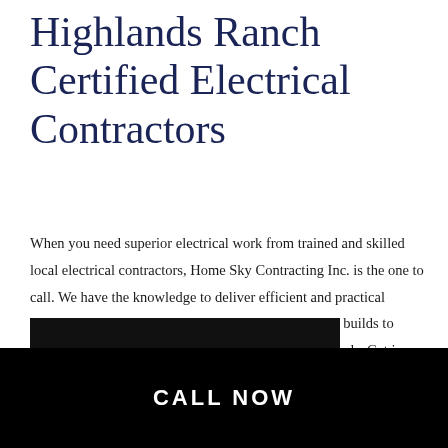Highlands Ranch Certified Electrical Contractors
When you need superior electrical work from trained and skilled local electrical contractors, Home Sky Contracting Inc. is the one to call. We have the knowledge to deliver efficient and practical electrical repairs, wiring, and installations. From new builds to renovation projects, we are here for your electrical needs. Get in touch with us today for general contractor services in Highlands Ranch.
CALL NOW